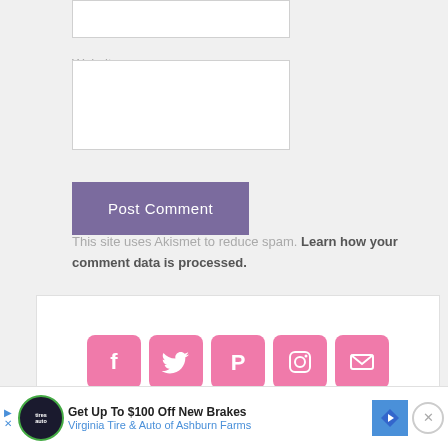Website
[Figure (screenshot): Website input text box (empty)]
[Figure (screenshot): Post Comment button in purple/mauve color]
This site uses Akismet to reduce spam. Learn how your comment data is processed.
[Figure (infographic): Social media icons row: Facebook, Twitter, Pinterest, Instagram, Email — all in pink rounded square buttons]
[Figure (screenshot): Advertisement bar: Get Up To $100 Off New Brakes Virginia Tire & Auto of Ashburn Farms]